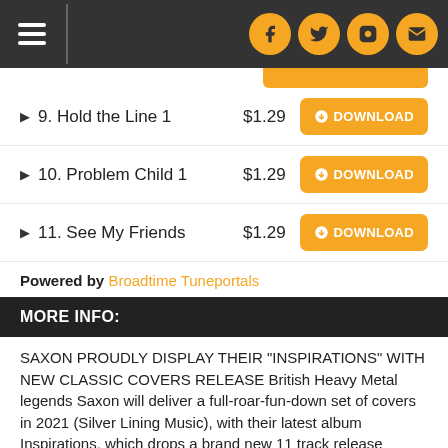Navigation bar with hamburger menu and social icons (Facebook, Twitter, Instagram, Email)
9. Hold the Line 1  $1.29  DOWNLOAD
10. Problem Child 1  $1.29  DOWNLOAD
11. See My Friends  $1.29  DOWNLOAD
Powered by Broadtime Tuneportals
MORE INFO:
SAXON PROUDLY DISPLAY THEIR "INSPIRATIONS" WITH NEW CLASSIC COVERS RELEASE British Heavy Metal legends Saxon will deliver a full-roar-fun-down set of covers in 2021 (Silver Lining Music), with their latest album Inspirations, which drops a brand new 11 track release featuring some of the superb classic rock songs that influenced Biff Byford & the band. From the crunching take on The Rolling Stones 'Paint It Black' and the super-charged melodic romp of The Beatles' [text continues]